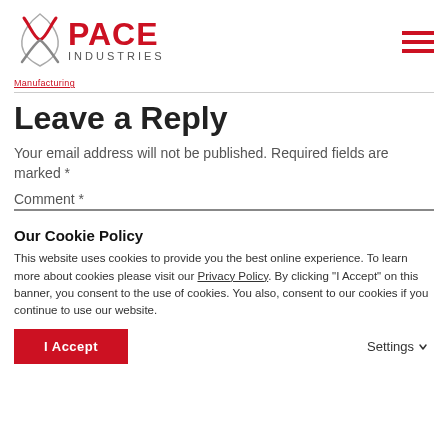PACE INDUSTRIES
Manufacturing
Leave a Reply
Your email address will not be published. Required fields are marked *
Comment *
Our Cookie Policy
This website uses cookies to provide you the best online experience. To learn more about cookies please visit our Privacy Policy. By clicking "I Accept" on this banner, you consent to the use of cookies. You also, consent to our cookies if you continue to use our website.
I Accept   Settings